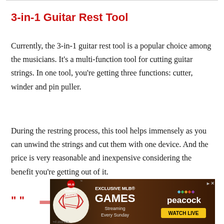3-in-1 Guitar Rest Tool
Currently, the 3-in-1 guitar rest tool is a popular choice among the musicians. It’s a multi-function tool for cutting guitar strings. In one tool, you’re getting three functions: cutter, winder and pin puller.
During the restring process, this tool helps immensely as you can unwind the strings and cut them with one device. And the price is very reasonable and inexpensive considering the benefit you’re getting out of it.
[Figure (other): Advertisement banner for exclusive MLB games streaming on Peacock, Sunday Leadoff. Shows a baseball, MLB logo, and Peacock branding with Watch Live button.]